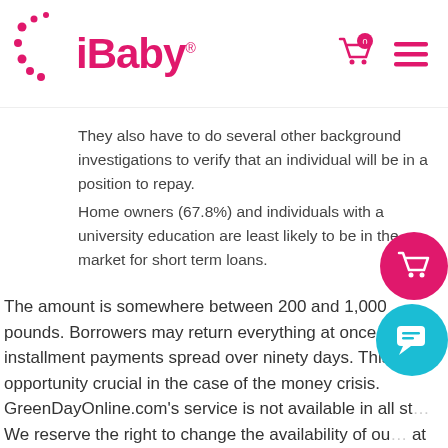iBaby® [navigation with cart icon and hamburger menu]
They also have to do several other background investigations to verify that an individual will be in a position to repay.
Home owners (67.8%) and individuals with a university education are least likely to be in the market for short term loans.
The amount is somewhere between 200 and 1,000 pounds. Borrowers may return everything at once or as installment payments spread over ninety days. This opportunity crucial in the case of the money crisis. GreenDayOnline.com's service is not available in all st... We reserve the right to change the availability of ou... at any time without notice. We encourage you study and